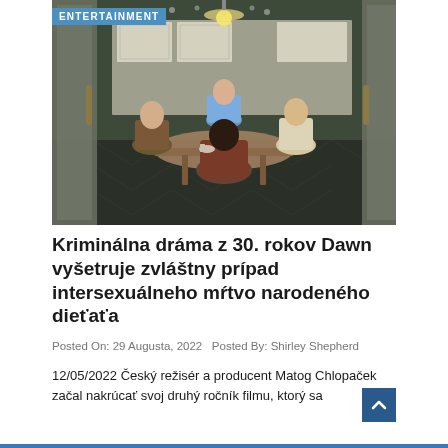ENTERTAINMENT
[Figure (photo): Scene from a 1930s period criminal drama film — four people (three men and one woman) sitting around a kitchen table in a vintage-style kitchen with retro appliances and patterned tile floor.]
Kriminálna dráma z 30. rokov Dawn vyšetruje zvláštny prípad intersexuálneho mŕtvo narodeného dieťaťa
Posted On: 29 Augusta, 2022   Posted By: Shirley Shepherd
12/05/2022 Český režisér a producent Matog Chlopaček začal nakrúcať svoj druhý ročník filmu, ktorý sa